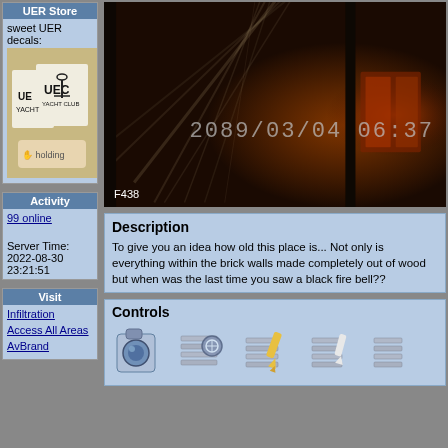UER Store
sweet UER decals:
[Figure (photo): UER Yacht Club decal stickers held in hand]
Activity
99 online
Server Time: 2022-08-30 23:21:51
Visit
Infiltration
Access All Areas
AvBrand
[Figure (photo): Dark interior photo of old building with timestamp 2089/03/04 06:37 and label F438]
Description
To give you an idea how old this place is... Not only is everything within the brick walls made completely out of wood but w... the last time you saw a black fire bell??
Controls
[Figure (infographic): Row of control icon buttons]